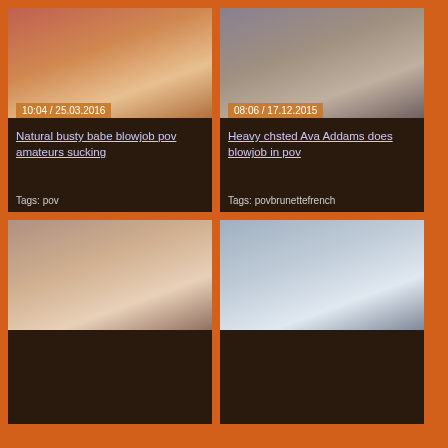[Figure (photo): Thumbnail image of redhead woman in red top, with POVha watermark overlay]
10:04 / 25.03.2016
Natural busty babe blowjob pov amateurs sucking
Tags: pov
[Figure (photo): Thumbnail image of adult content scene]
08:06 / 17.12.2015
Heavy chsted Ava Addams does blowjob in pov
Tags: povbrunettefrench
[Figure (photo): Thumbnail image of dark-haired woman on white sofa]
[Figure (photo): Thumbnail image of young woman sitting on white bed in room with lamps]